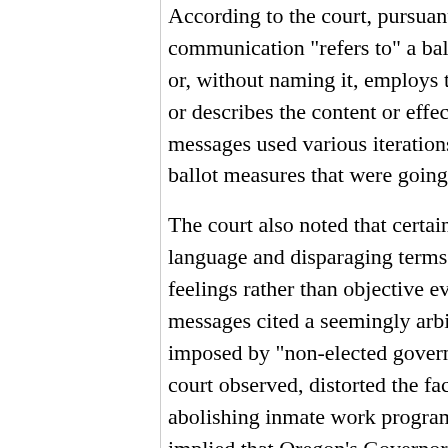According to the court, pursuant to the regulations, a communication "refers to" a ballot measure if it names it by name or, without naming it, employs terms which identify the measure or describes the content or effect of the measure. The radio messages used various iterations of terms used in connection with ballot measures that were going to vote.
The court also noted that certain messages made use of emotional language and disparaging terms and reached into listeners feelings rather than objective evaluations. For example, some messages cited a seemingly arbitrary and non-specific cost imposed by "non-elected government bureaucrats" which, the court observed, distorted the facts which led to Oregon's abolishing inmate work programs. The message incorrectly implied that Oregon's Governor and attorney general could have kept it from being shut down but did not because of their political leanings on the system, i.e., they "just don't think criminals should" and "think * * * [criminals] can be rehabilitated."
For a discussion of the excise taxes aimed at discouraging engaging in legislative and political activities.
[Return to Table of